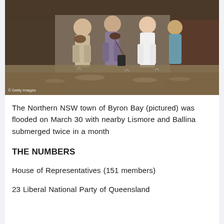[Figure (photo): People wading through floodwaters in Byron Bay on March 30, carrying dogs and luggage. Brown floodwater fills the street. Getty Images watermark visible.]
The Northern NSW town of Byron Bay (pictured) was flooded on March 30 with nearby Lismore and Ballina submerged twice in a month
THE NUMBERS
House of Representatives (151 members)
23 Liberal National Party of Queensland